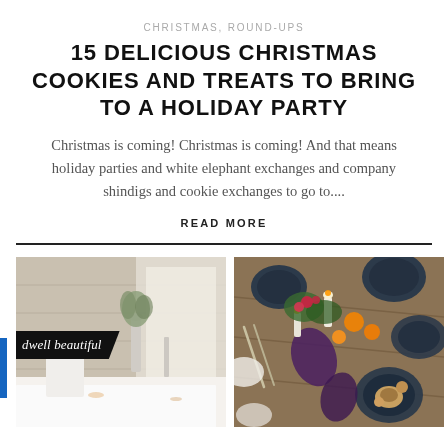CHRISTMAS, ROUND-UPS
15 DELICIOUS CHRISTMAS COOKIES AND TREATS TO BRING TO A HOLIDAY PARTY
Christmas is coming! Christmas is coming! And that means holiday parties and white elephant exchanges and company shindigs and cookie exchanges to go to....
READ MORE
[Figure (photo): Minimalist white holiday table setting with white chairs, a simple vase with greenery, and a wooden backdrop. A 'dwell beautiful' branded banner overlays the lower-left corner.]
[Figure (photo): Overhead view of a festive holiday table with navy/dark plates, purple napkins, candles, oranges, flowers, and greenery scattered across a wooden table.]